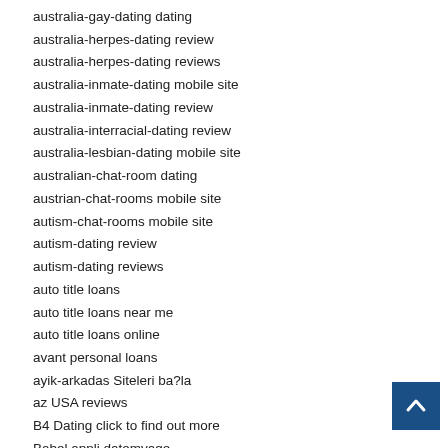australia-gay-dating dating
australia-herpes-dating review
australia-herpes-dating reviews
australia-inmate-dating mobile site
australia-inmate-dating review
australia-interracial-dating review
australia-lesbian-dating mobile site
australian-chat-room dating
austrian-chat-rooms mobile site
autism-chat-rooms mobile site
autism-dating review
autism-dating reviews
auto title loans
auto title loans near me
auto title loans online
avant personal loans
ayik-arkadas Siteleri ba?la
az USA reviews
B4 Dating click to find out more
Babel appli datemyage
Babel asian rencontre
babel bewertung
Babel blackB rencontre
babel kostenloser Chat